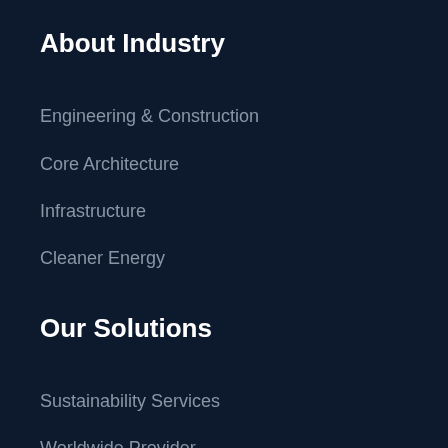About Industry
Engineering & Construction
Core Architecture
Infrastructure
Cleaner Energy
Our Solutions
Sustainability Services
Worldwide Provider
Master Planning